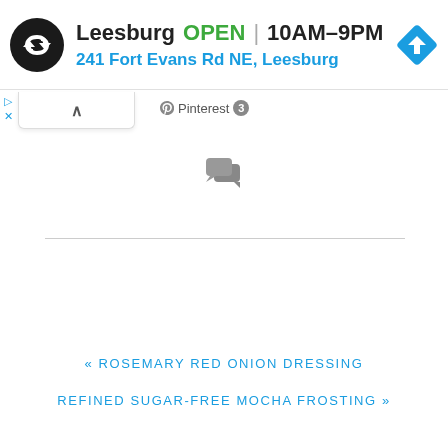[Figure (infographic): Store banner ad showing Leesburg location with logo, OPEN status, hours 10AM-9PM, address 241 Fort Evans Rd NE Leesburg, and blue navigation diamond icon]
Pinterest 3
[Figure (infographic): Two overlapping speech bubble / comment icons in grey]
« ROSEMARY RED ONION DRESSING
REFINED SUGAR-FREE MOCHA FROSTING »